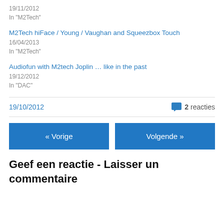19/11/2012
In "M2Tech"
M2Tech hiFace / Young / Vaughan and Squeezbox Touch
16/04/2013
In "M2Tech"
Audiofun with M2tech Joplin … like in the past
19/12/2012
In "DAC"
19/10/2012   2 reacties
« Vorige   Volgende »
Geef een reactie - Laisser un commentaire